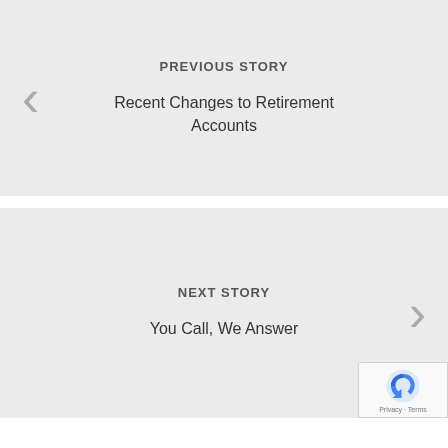PREVIOUS STORY
Recent Changes to Retirement Accounts
NEXT STORY
You Call, We Answer